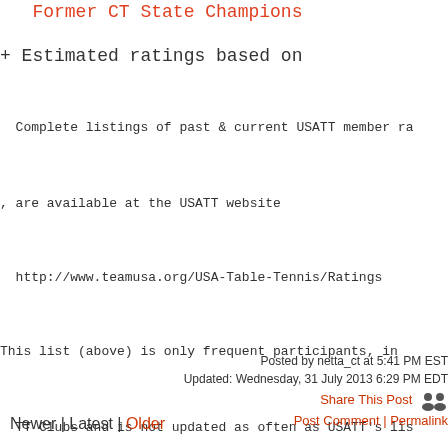Former CT State Champions
+ Estimated ratings based on
Complete listings of past & current USATT member ra
, are available at the USATT website
http://www.teamusa.org/USA-Table-Tennis/Ratings
This list (above) is only frequent participants, in
TT Clubs and is not updated as often as USATT's lis
It's purpose is to recognize active club players a
of the skill levels of players you are likely to s
(in addition to unrated and novice players too )
Posted by netta_ct at 5:41 PM EST
Updated: Wednesday, 31 July 2013 6:29 PM EDT
Share This Post
Post Comment | Permalink
Newer | Latest | Older